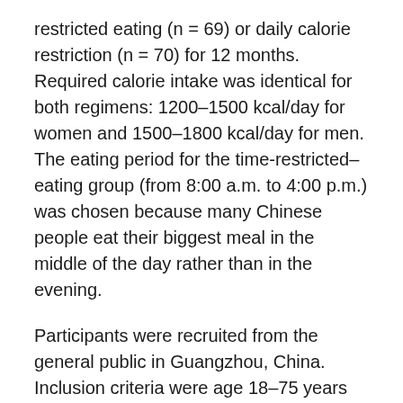restricted eating (n = 69) or daily calorie restriction (n = 70) for 12 months. Required calorie intake was identical for both regimens: 1200–1500 kcal/day for women and 1500–1800 kcal/day for men. The eating period for the time-restricted–eating group (from 8:00 a.m. to 4:00 p.m.) was chosen because many Chinese people eat their biggest meal in the middle of the day rather than in the evening.
Participants were recruited from the general public in Guangzhou, China. Inclusion criteria were age 18–75 years and BMI 28–45 kg/m2. Exclusion criteria were, among others, diabetes mellitus, serious cardiovascular or cerebrovascular disease within 6 months before randomization, active participation in another